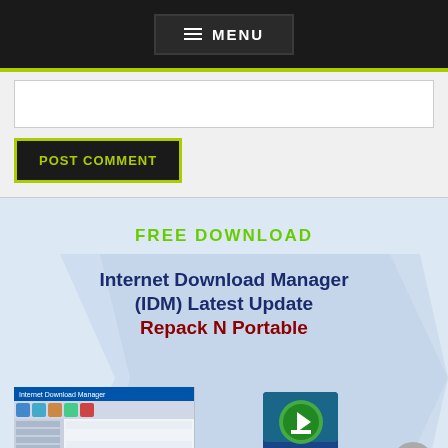☰ MENU
POST COMMENT
FREE DOWNLOAD
[Figure (screenshot): Internet Download Manager (IDM) Latest Update Repack N Portable promotional banner with software screenshot and box art on light blue background with arrow graphic]